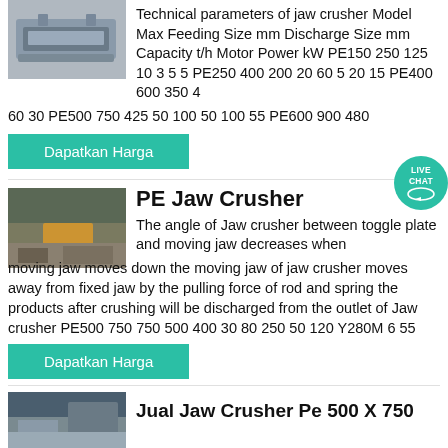[Figure (photo): Photo of jaw crusher machine, gray metallic industrial equipment]
Technical parameters of jaw crusher Model Max Feeding Size mm Discharge Size mm Capacity t/h Motor Power kW PE150 250 125 10 3 5 5 PE250 400 200 20 60 5 20 15 PE400 600 350 4 60 30 PE500 750 425 50 100 50 100 55 PE600 900 480
Dapatkan Harga
[Figure (photo): Photo of PE jaw crusher in operation at a quarry site with rocks]
PE Jaw Crusher
The angle of Jaw crusher between toggle plate and moving jaw decreases when moving jaw moves down the moving jaw of jaw crusher moves away from fixed jaw by the pulling force of rod and spring the products after crushing will be discharged from the outlet of Jaw crusher PE500 750 750 500 400 30 80 250 50 120 Y280M 6 55
Dapatkan Harga
[Figure (photo): Photo of Jual Jaw Crusher Pe 500 X 750 equipment]
Jual Jaw Crusher Pe 500 X 750